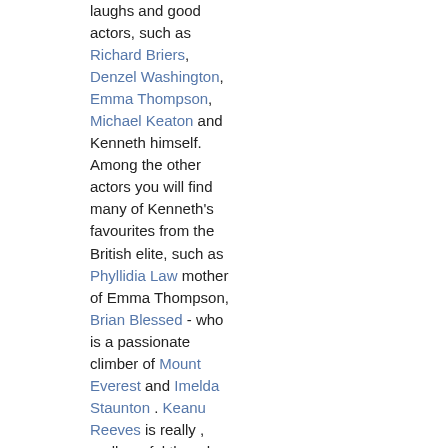laughs and good actors, such as Richard Briers, Denzel Washington, Emma Thompson, Michael Keaton and Kenneth himself. Among the other actors you will find many of Kenneth's favourites from the British elite, such as Phyllidia Law mother of Emma Thompson, Brian Blessed - who is a passionate climber of Mount Everest and Imelda Staunton . Keanu Reeves is really , really awful though.

It is interesting to see how Kenneth Branagh not hesitates to bring in American accents into a Shakespeare play.
2002.02.06@16:59 anthropod says re: Much Ado About